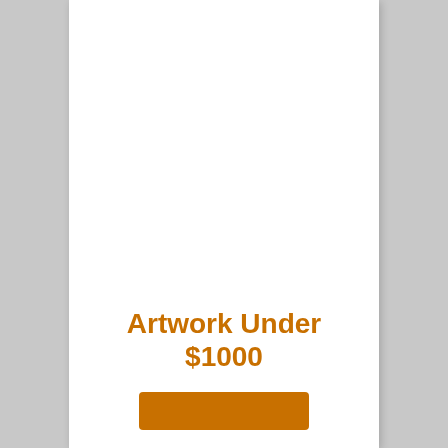Artwork Under $1000
[Figure (other): Orange button partially visible at bottom of card]